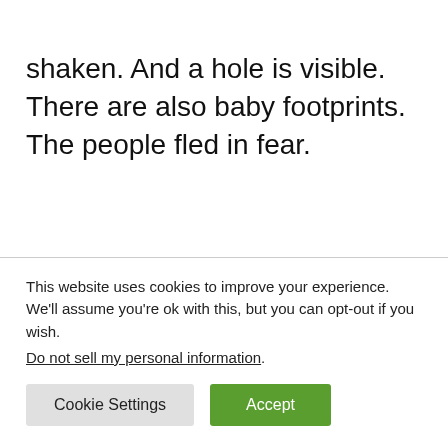shaken. And a hole is visible. There are also baby footprints. The people fled in fear.
This website uses cookies to improve your experience. We'll assume you're ok with this, but you can opt-out if you wish.
Do not sell my personal information.
Cookie Settings  Accept